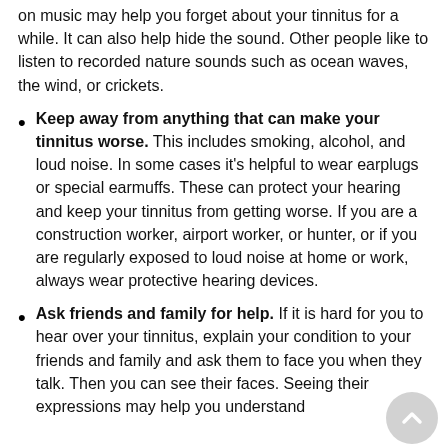on music may help you forget about your tinnitus for a while. It can also help hide the sound. Other people like to listen to recorded nature sounds such as ocean waves, the wind, or crickets.
Keep away from anything that can make your tinnitus worse. This includes smoking, alcohol, and loud noise. In some cases it's helpful to wear earplugs or special earmuffs. These can protect your hearing and keep your tinnitus from getting worse. If you are a construction worker, airport worker, or hunter, or if you are regularly exposed to loud noise at home or work, always wear protective hearing devices.
Ask friends and family for help. If it is hard for you to hear over your tinnitus, explain your condition to your friends and family and ask them to face you when they talk. Then you can see their faces. Seeing their expressions may help you understand